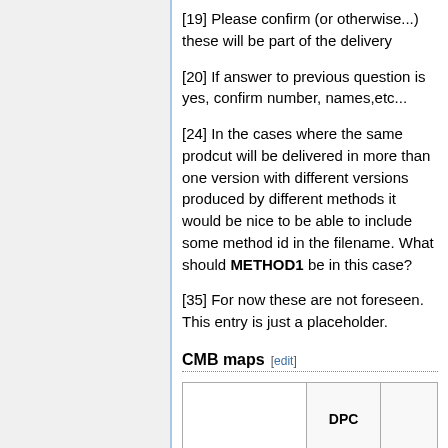[19] Please confirm (or otherwise...) these will be part of the delivery
[20] If answer to previous question is yes, confirm number, names,etc...
[24] In the cases where the same prodcut will be delivered in more than one version with different versions produced by different methods it would be nice to be able to include some method id in the filename. What should METHOD1 be in this case?
[35] For now these are not foreseen. This entry is just a placeholder.
CMB maps
|  | DPC | COM |
| --- | --- | --- |
|  |  |  |